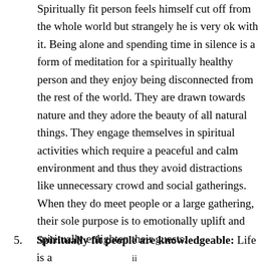Spiritually fit person feels himself cut off from the whole world but strangely he is very ok with it. Being alone and spending time in silence is a form of meditation for a spiritually healthy person and they enjoy being disconnected from the rest of the world. They are drawn towards nature and they adore the beauty of all natural things. They engage themselves in spiritual activities which require a peaceful and calm environment and thus they avoid distractions like unnecessary crowd and social gatherings. When they do meet people or a large gathering, their sole purpose is to emotionally uplift and spiritually enlighten their guests.
5. Spiritually fit people are knowledgeable: Life is a
ii